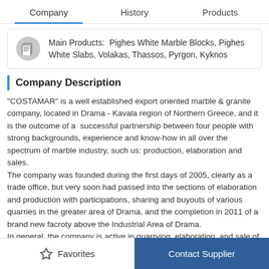Company | History | Products
Main Products:  Pighes White Marble Blocks, Pighes White Slabs, Volakas, Thassos, Pyrgon, Kyknos
Company Description
"COSTAMAR" is a well established export oriented marble & granite company, located in Drama - Kavala region of Northern Greece, and it is the outcome of a  successful partnership between four people with strong backgrounds, experience and know-how in all over the spectrum of marble industry, such us: production, elaboration and sales.
The company was founded during the first days of 2005, clearly as a trade office, but very soon had passed into the sections of elaboration and production with participations, sharing and buyouts of various quarries in the greater area of Drama, and the completion in 2011 of a brand new facroty above the Industrial Area of Drama.
In general, the company is active in quarrying, elaboration, and sale of processed and unprocessed marble, granite, and other stone products.
Favorites | Contact Supplier